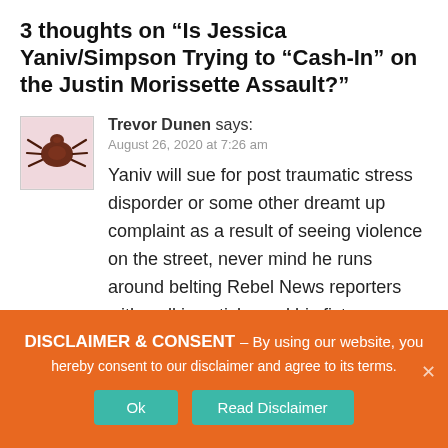3 thoughts on “Is Jessica Yaniv/Simpson Trying to “Cash-In” on the Justin Morissette Assault?”
[Figure (illustration): Avatar image of a tick/bug illustration on a pink background]
Trevor Dunen says:
August 26, 2020 at 7:26 am
Yaniv will sue for post traumatic stress disporder or some other dreamt up complaint as a result of seeing violence on the street, never mind he runs around belting Rebel News reporters with walking sticks and his fists depending on whether he’s at court or not, fucking fat hyprocite The fuckwit will work some angle to try and get free money.
DISCLAIMER & CONSENT – By using our website, you hereby consent to our disclaimer and agree to its terms.